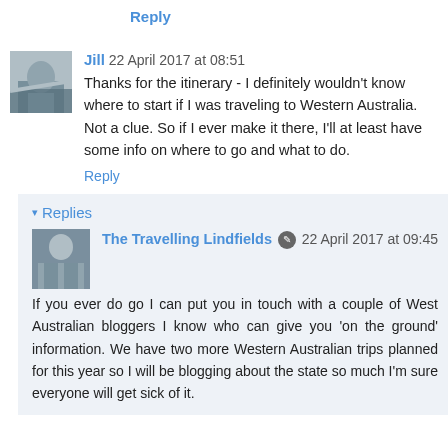Reply
Jill  22 April 2017 at 08:51
Thanks for the itinerary - I definitely wouldn't know where to start if I was traveling to Western Australia. Not a clue. So if I ever make it there, I'll at least have some info on where to go and what to do.
Reply
▾ Replies
The Travelling Lindfields  22 April 2017 at 09:45
If you ever do go I can put you in touch with a couple of West Australian bloggers I know who can give you 'on the ground' information. We have two more Western Australian trips planned for this year so I will be blogging about the state so much I'm sure everyone will get sick of it.